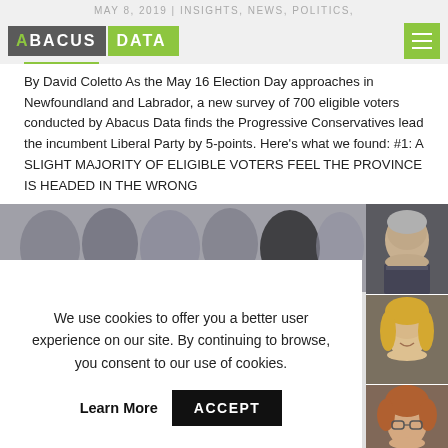MAY 8, 2019 | INSIGHTS, NEWS, POLITICS,
[Figure (logo): Abacus Data logo with green hamburger menu icon]
By David Coletto As the May 16 Election Day approaches in Newfoundland and Labrador, a new survey of 700 eligible voters conducted by Abacus Data finds the Progressive Conservatives lead the incumbent Liberal Party by 5-points. Here's what we found: #1: A SLIGHT MAJORITY OF ELIGIBLE VOTERS FEEL THE PROVINCE IS HEADED IN THE WRONG
[Figure (photo): Group photo strip of people at top, with three individual portrait photos on the right (elderly man in suit, smiling blonde woman, woman with glasses and curly hair)]
We use cookies to offer you a better user experience on our site. By continuing to browse, you consent to our use of cookies.
Learn More   ACCEPT